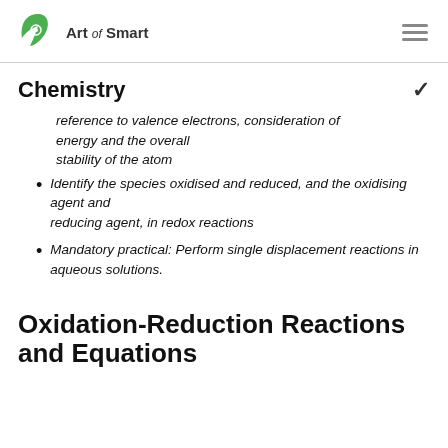Art of Smart
Chemistry
reference to valence electrons, consideration of energy and the overall stability of the atom
Identify the species oxidised and reduced, and the oxidising agent and reducing agent, in redox reactions
Mandatory practical: Perform single displacement reactions in aqueous solutions.
Oxidation-Reduction Reactions and Equations